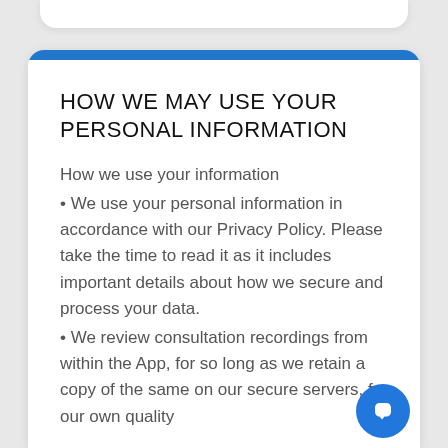HOW WE MAY USE YOUR PERSONAL INFORMATION
How we use your information
• We use your personal information in accordance with our Privacy Policy. Please take the time to read it as it includes important details about how we secure and process your data.
• We review consultation recordings from within the App, for so long as we retain a copy of the same on our secure servers, for our own quality